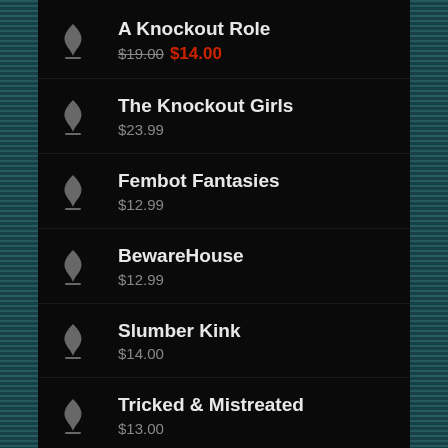A Knockout Role
$19.00 $14.00
The Knockout Girls
$23.99
Fembot Fantasies
$12.99
BewareHouse
$12.99
Slumber Kink
$14.00
Tricked & Mistreated
$13.00